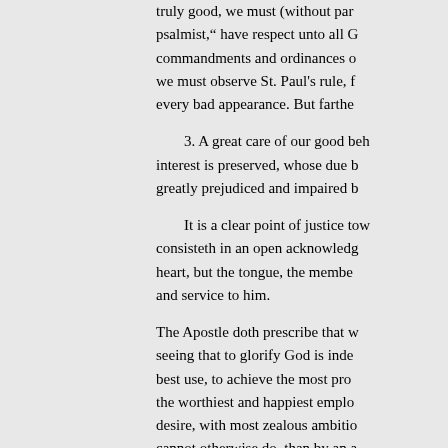truly good, we must (without par psalmist," have respect unto all commandments and ordinances we must observe St. Paul's rule, every bad appearance. But farthe
3. A great care of our good be interest is preserved, whose due greatly prejudiced and impaired b
It is a clear point of justice tow consisteth in an open acknowledg heart, but the tongue, the membe and service to him.
The Apostle doth prescribe that seeing that to glorify God is ind best use, to achieve the most pro the worthiest and happiest emplo desire, with most zealous ambitio cannot otherwise do, than by an
He that apparently in all his ac firm persuasion concerning the e of piety, and all temptations to re due veneration and obedience: